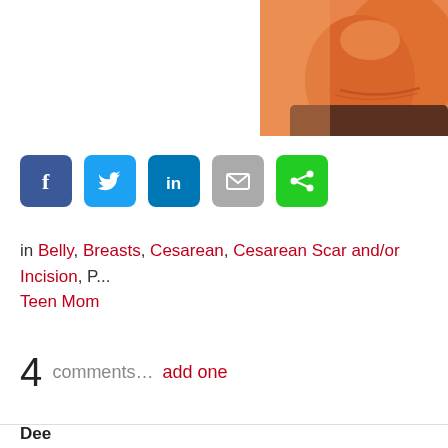[Figure (photo): Close-up photo of a person's abdomen/belly showing a cesarean scar, warm orange-toned lighting, person wearing dark clothing]
[Figure (infographic): Social media share buttons: Facebook (dark blue), Twitter (light blue), LinkedIn (blue), Email (grey), Share (green)]
in Belly, Breasts, Cesarean, Cesarean Scar and/or Incision, P... Teen Mom
4 comments… add one
Dee